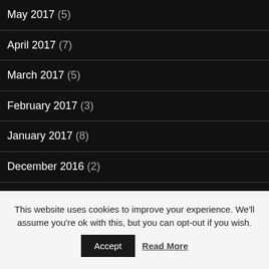May 2017 (5)
April 2017 (7)
March 2017 (5)
February 2017 (3)
January 2017 (8)
December 2016 (2)
November 2016 (6)
October 2016 (5)
September 2016 (5)
August 2016 (7)
This website uses cookies to improve your experience. We'll assume you're ok with this, but you can opt-out if you wish.